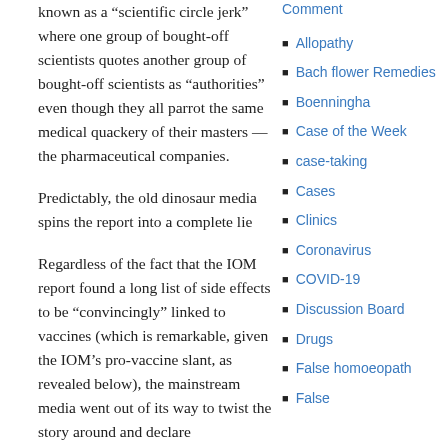known as a “scientific circle jerk” where one group of bought-off scientists quotes another group of bought-off scientists as “authorities” even though they all parrot the same medical quackery of their masters — the pharmaceutical companies.
Predictably, the old dinosaur media spins the report into a complete lie
Regardless of the fact that the IOM report found a long list of side effects to be “convincingly” linked to vaccines (which is remarkable, given the IOM’s pro-vaccine slant, as revealed below), the mainstream media went out of its way to twist the story around and declare
Comment
Allopathy
Bach flower Remedies
Boenningha
Case of the Week
case-taking
Cases
Clinics
Coronavirus
COVID-19
Discussion Board
Drugs
False homoeopath
False